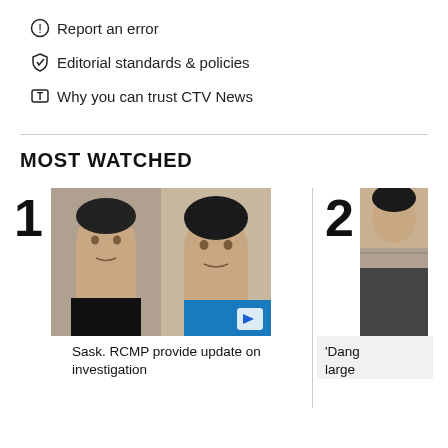Report an error
Editorial standards & policies
Why you can trust CTV News
MOST WATCHED
[Figure (photo): Mugshot photos of two men side by side for item 1, Sask. RCMP stabbing suspect update]
Sask. RCMP provide update on investigation
[Figure (photo): Partial photo visible for item 2]
'Dang large